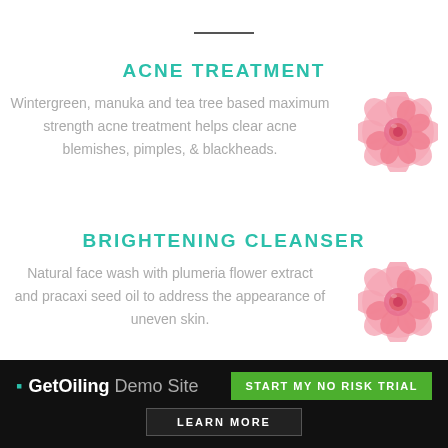ACNE TREATMENT
Wintergreen, manuka and tea tree based maximum strength acne treatment helps clear acne blemishes, pimples, & blackheads.
[Figure (illustration): Pink rose flower illustration]
BRIGHTENING CLEANSER
Natural face wash with plumeria flower extract and pracaxi seed oil to address the appearance of uneven skin.
[Figure (illustration): Pink rose flower illustration]
GetOiling Demo Site  START MY NO RISK TRIAL  LEARN MORE